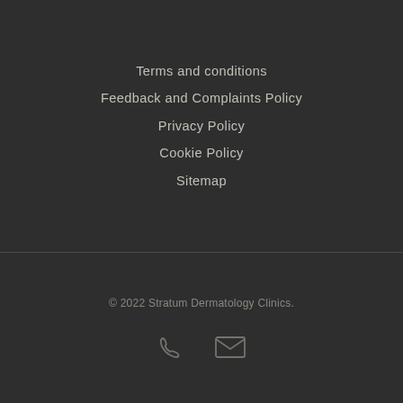Terms and conditions
Feedback and Complaints Policy
Privacy Policy
Cookie Policy
Sitemap
© 2022 Stratum Dermatology Clinics.
[Figure (illustration): Phone icon and email/envelope icon side by side in gray]